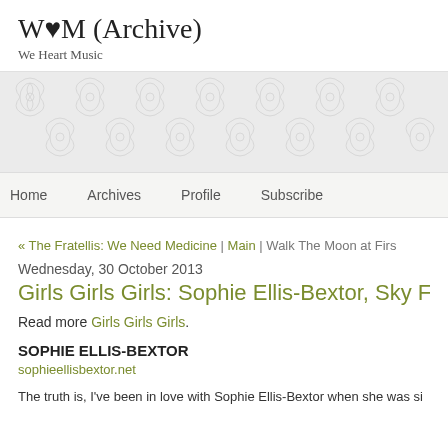W♥M (Archive)
We Heart Music
[Figure (illustration): Decorative damask/floral pattern background strip in light grey]
Home | Archives | Profile | Subscribe
« The Fratellis: We Need Medicine | Main | Walk The Moon at Firs
Wednesday, 30 October 2013
Girls Girls Girls: Sophie Ellis-Bextor, Sky Ferreira
Read more Girls Girls Girls.
SOPHIE ELLIS-BEXTOR
sophieellisbextor.net
The truth is, I've been in love with Sophie Ellis-Bextor when she was si